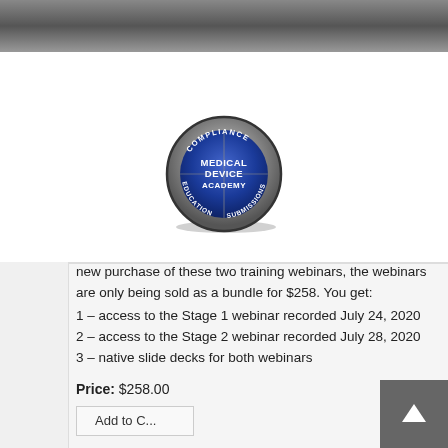[Figure (logo): Medical Device Academy circular badge logo with 'COMPLIANCE', 'EDUCATION', 'SUBMISSIONS' around the edge and 'MEDICAL DEVICE ACADEMY' in the center blue field]
new purchase of these two training webinars, the webinars are only being sold as a bundle for $258. You get:
1 – access to the Stage 1 webinar recorded July 24, 2020
2 – access to the Stage 2 webinar recorded July 28, 2020
3 – native slide decks for both webinars
Price: $258.00